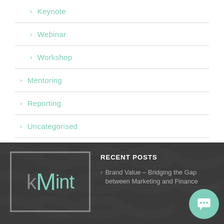Keynote
Webinar
Workshop
Mentoring
Reporting
Uncategorised
[Figure (logo): kMint logo — letter k in grey, Mint in teal, inside a rectangular border]
RECENT POSTS
Brand Value – Bridging the Gap between Marketing and Finance